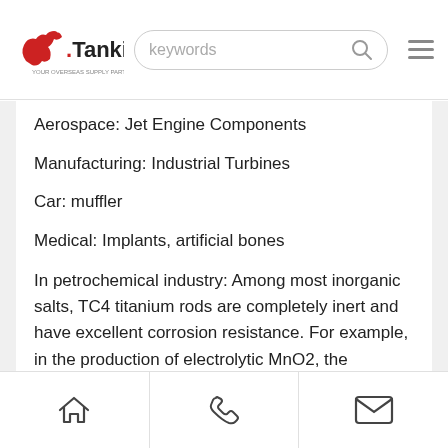Tanki — keywords search bar with hamburger menu
Aerospace: Jet Engine Components
Manufacturing: Industrial Turbines
Car: muffler
Medical: Implants, artificial bones
In petrochemical industry: Among most inorganic salts, TC4 titanium rods are completely inert and have excellent corrosion resistance. For example, in the production of electrolytic MnO2, the electrolyte is a neutral MnSO4 solution, which requires the
Home | Phone | Email